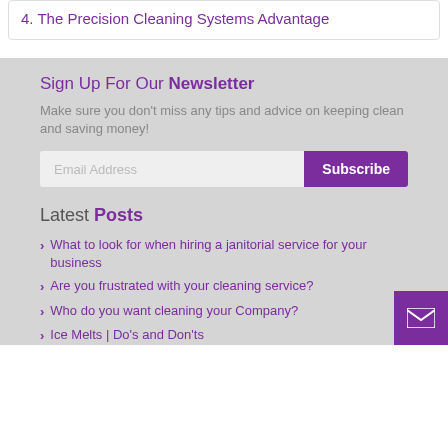4. The Precision Cleaning Systems Advantage
Sign Up For Our Newsletter
Make sure you don't miss any tips and advice on keeping clean and saving money!
Email Address  Subscribe
Latest Posts
What to look for when hiring a janitorial service for your business
Are you frustrated with your cleaning service?
Who do you want cleaning your Company?
Ice Melts | Do's and Don'ts